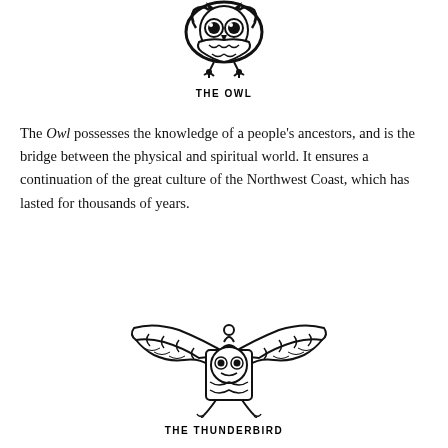[Figure (illustration): Northwest Coast Indigenous art style owl illustration in black and white]
THE OWL
The Owl possesses the knowledge of a people's ancestors, and is the bridge between the physical and spiritual world. It ensures a continuation of the great culture of the Northwest Coast, which has lasted for thousands of years.
[Figure (illustration): Northwest Coast Indigenous art style thunderbird illustration in black and white with spread wings]
THE THUNDERBIRD